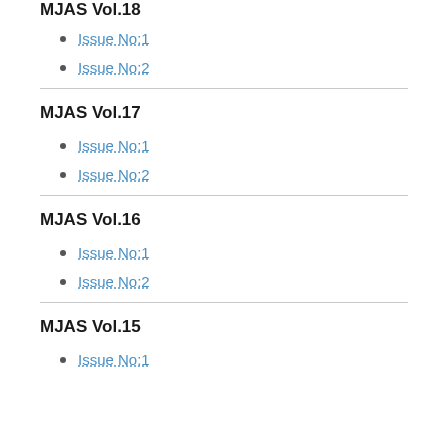MJAS Vol.18
Issue No:1
Issue No:2
MJAS Vol.17
Issue No:1
Issue No:2
MJAS Vol.16
Issue No:1
Issue No:2
MJAS Vol.15
Issue No:1